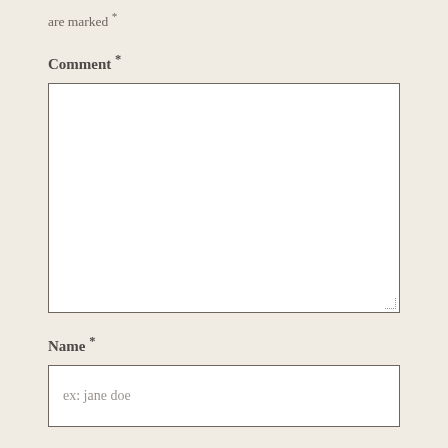are marked *
Comment *
[Figure (other): Empty comment textarea input box with resize handle]
Name *
[Figure (other): Name input field with placeholder text 'ex: jane doe']